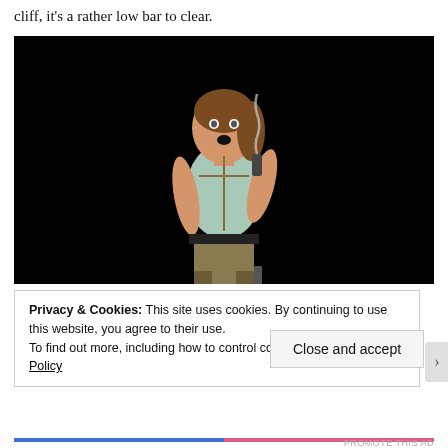cliff, it's a rather low bar to clear.
[Figure (photo): 3D rendered character of Lara Croft from Tomb Raider, holding a smoking gun against a black background, wearing a light blue top and khaki shorts with holsters]
Privacy & Cookies: This site uses cookies. By continuing to use this website, you agree to their use.
To find out more, including how to control cookies, see here: Cookie Policy
Close and accept